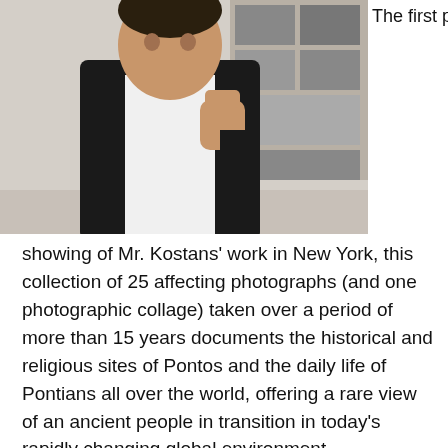[Figure (photo): A man in a black blazer and white shirt standing in front of a photo collage on a wall, partially cropped at top]
The first public
showing of Mr. Kostans' work in New York, this collection of 25 affecting photographs (and one photographic collage) taken over a period of more than 15 years documents the historical and religious sites of Pontos and the daily life of Pontians all over the world, offering a rare view of an ancient people in transition in today's rapidly changing global environment.
This does not apply only to the non-Pontian viewer; the photographs, Kostans points out, are a way for Pontians themselves to examine their lives, to ask questions about their own identity, history, and culture, "inside and outside of their boundaries, speeding the process of reunion with their own and reconciliation with the rest of the world."
And as a Greek American immigrant of Pontian descent,